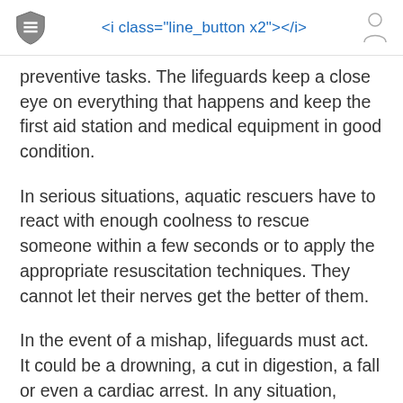<i class="line_button x2"></i>
preventive tasks. The lifeguards keep a close eye on everything that happens and keep the first aid station and medical equipment in good condition.
In serious situations, aquatic rescuers have to react with enough coolness to rescue someone within a few seconds or to apply the appropriate resuscitation techniques. They cannot let their nerves get the better of them.
In the event of a mishap, lifeguards must act. It could be a drowning, a cut in digestion, a fall or even a cardiac arrest. In any situation, lifeguards must provide emergency care.